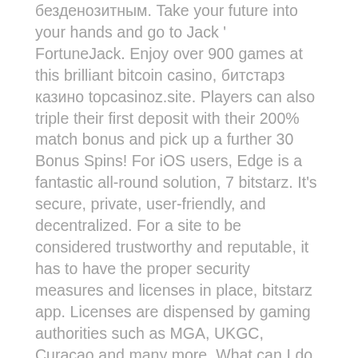безденозитным. Take your future into your hands and go to Jack ' FortuneJack. Enjoy over 900 games at this brilliant bitcoin casino, битстарз казино topcasinoz.site. Players can also triple their first deposit with their 200% match bonus and pick up a further 30 Bonus Spins! For iOS users, Edge is a fantastic all-round solution, 7 bitstarz. It's secure, private, user-friendly, and decentralized. For a site to be considered trustworthy and reputable, it has to have the proper security measures and licenses in place, bitstarz app. Licenses are dispensed by gaming authorities such as MGA, UKGC, Curacao and many more. What can I do to prevent this in the future, bitstarz promo code usa. If you are on a personal connection, like at home, you can run an anti-virus scan on your device to make sure it is not infected with malware. Welcome bonus : 1st deposit ' 240% up